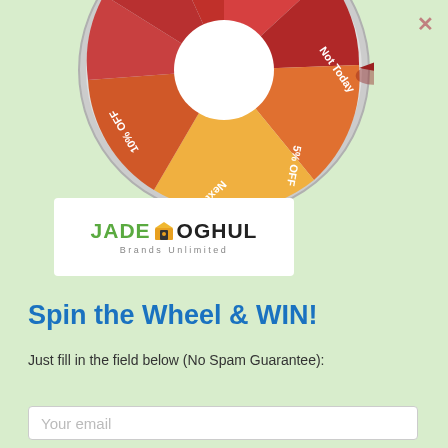[Figure (illustration): Spin the wheel prize wheel showing segments: Almost, 10% OFF, Not Today, 5% OFF, Next Time!, 10% OFF, with a red pointer/needle on the right side. Wheel has gradient colors from red to orange to yellow.]
[Figure (logo): Jade Moghul Brands Unlimited logo - green JADE text, orange diamond/house icon, black MOGHUL text, with 'Brands Unlimited' subtitle]
Spin the Wheel & WIN!
Just fill in the field below (No Spam Guarantee):
Your email